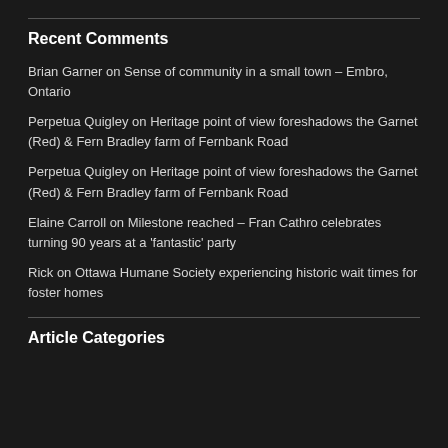Recent Comments
Brian Garner on Sense of community in a small town – Embro, Ontario
Perpetua Quigley on Heritage point of view foreshadows the Garnet (Red) & Fern Bradley farm of Fernbank Road
Perpetua Quigley on Heritage point of view foreshadows the Garnet (Red) & Fern Bradley farm of Fernbank Road
Elaine Carroll on Milestone reached – Fran Cathro celebrates turning 90 years at a 'fantastic' party
Rick on Ottawa Humane Society experiencing historic wait times for foster homes
Article Categories